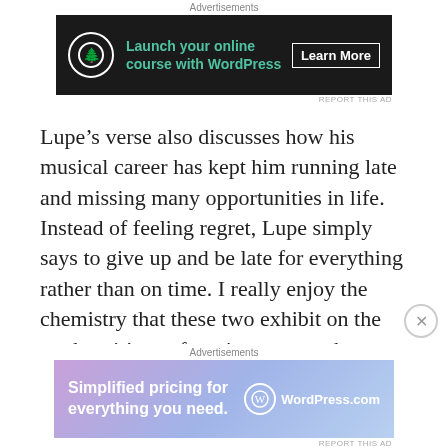Advertisements
[Figure (other): Dark advertisement banner for WordPress: 'Launch your online course with WordPress' with Learn More button and tree icon]
REPORT THIS AD
Lupe’s verse also discusses how his musical career has kept him running late and missing many opportunities in life. Instead of feeling regret, Lupe simply says to give up and be late for everything rather than on time. I really enjoy the chemistry that these two exhibit on the track as it’s my favorite song on the album by far. Big Sean is severely underrated in hip-hop but with songs such as this, he can be given credit for his great lyrics and delivery that gave
Advertisements
[Figure (other): Colorful gradient advertisement banner for WordPress.com: 'Simplified pricing for everything you need.']